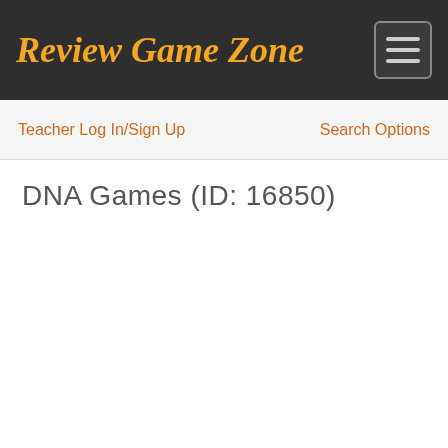Review Game Zone
Teacher Log In/Sign Up
Search Options
DNA Games (ID: 16850)